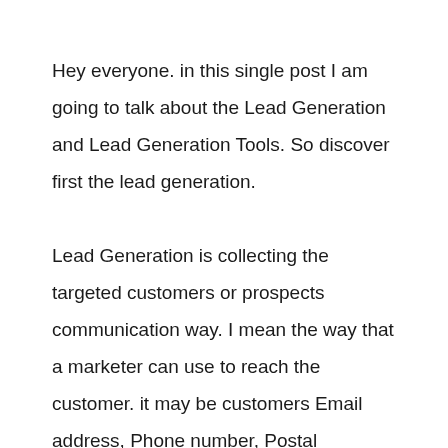Hey everyone. in this single post I am going to talk about the Lead Generation and Lead Generation Tools. So discover first the lead generation.

Lead Generation is collecting the targeted customers or prospects communication way. I mean the way that a marketer can use to reach the customer. it may be customers Email address, Phone number, Postal Address, and anything that can use to communicate